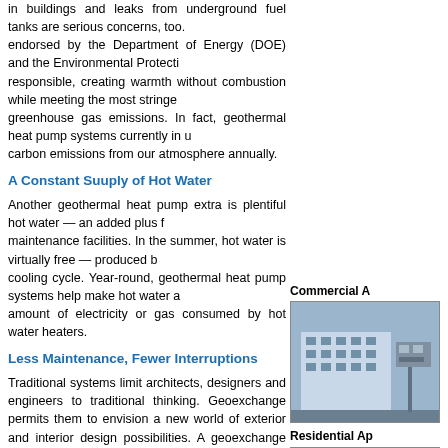Even the most advanced fossil fuel systems release emissions into the air during combustion; fuels stored in buildings and leaks from underground fuel tanks are serious concerns, too. Geothermal heat pump systems endorsed by the Department of Energy (DOE) and the Environmental Protection Agency (EPA) are environmentally responsible, creating warmth without combustion while meeting the most stringent emissions standards and reducing greenhouse gas emissions. In fact, geothermal heat pump systems currently in use are removing the equivalent of carbon emissions from our atmosphere annually.
A Constant Suuply of Hot Water
Another geothermal heat pump extra is plentiful hot water — an added plus for hotels, schools and maintenance facilities. In the summer, hot water is virtually free — produced by heat removed during the cooling cycle. Year-round, geothermal heat pump systems help make hot water available by reducing the amount of electricity or gas consumed by hot water heaters.
Less Maintenance, Fewer Interruptions
Traditional systems limit architects, designers and engineers to traditional thinking. Geoexchange permits them to envision a new world of exterior and interior design possibilities. A geoexchange system needs only about one-third the space of a traditional boiler room. Pipes hidden above the ceiling transport warmth to or from concealed individual room heat pumps. Large blower units and radiators need no longer be a visual detriment inside offices or rooms. And the eyesore of above-ground and rooftop equipment completely disappears from view. The result? Unlimited architectural creativity. Geoexchange systems permit more-unusual, more-attractive exterior and roof designs. They allow historic buildings to be modernized without negatively impacting their appearance. They also permit more room in every room, with
Commercial A
[Figure (photo): Commercial application photo showing a building with HVAC equipment]
Residential Ap
[Figure (photo): Residential application photo showing coiled geothermal pipe]